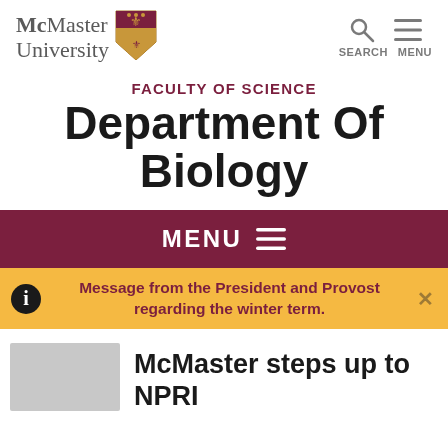McMaster University
[Figure (logo): McMaster University crest/shield logo in gold and maroon]
FACULTY OF SCIENCE
Department Of Biology
MENU
Message from the President and Provost regarding the winter term.
McMaster steps up to NPRI